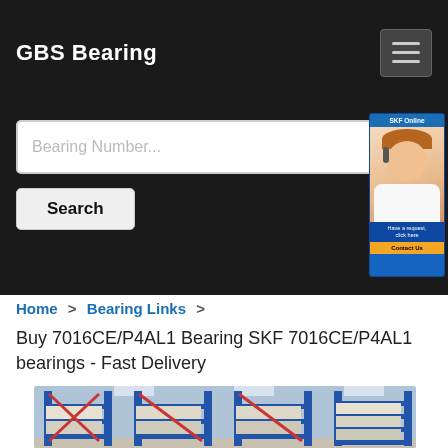GBS Bearing
Bearing Number...
Search
[Figure (photo): Customer advisor/chat widget showing a female customer service representative with a headset]
Home > Bearing Links >
Buy 7016CE/P4AL1 Bearing SKF 7016CE/P4AL1 bearings - Fast Delivery
[Figure (photo): Warehouse interior with blue metal shelving racks stocked with boxed bearing products]